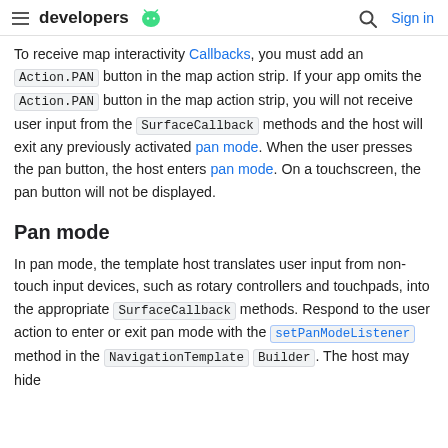developers
To receive map interactivity Callbacks, you must add an Action.PAN button in the map action strip. If your app omits the Action.PAN button in the map action strip, you will not receive user input from the SurfaceCallback methods and the host will exit any previously activated pan mode. When the user presses the pan button, the host enters pan mode. On a touchscreen, the pan button will not be displayed.
Pan mode
In pan mode, the template host translates user input from non-touch input devices, such as rotary controllers and touchpads, into the appropriate SurfaceCallback methods. Respond to the user action to enter or exit pan mode with the setPanModeListener method in the NavigationTemplate Builder. The host may hide